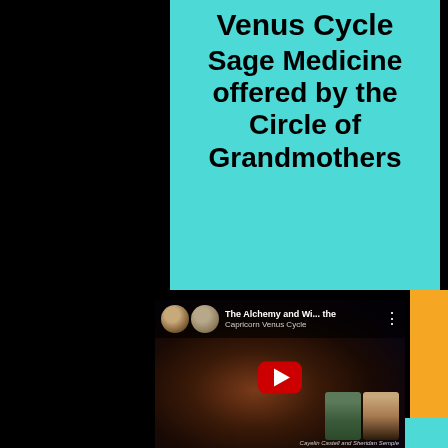Venus Cycle
Sage Medicine offered by the Circle of Grandmothers
[Figure (screenshot): YouTube video thumbnail for 'The Alchemy and Wi... the Capricorn Venus Cycle' showing two avatar photos, a red YouTube play button, a dark space/planet background, and two women on the right side. Text reads 'Cayelin Castell and Sheridan Semple'.]